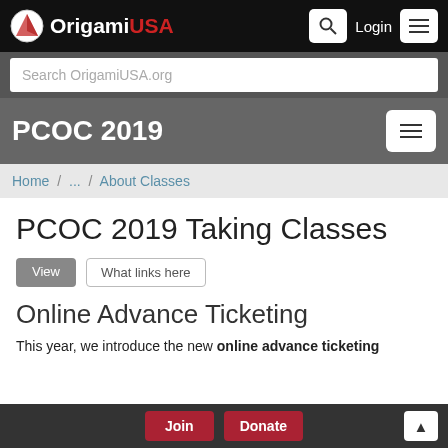OrigamiUSA — Login — Search — Menu
Search OrigamiUSA.org
PCOC 2019
Home / ... / About Classes
PCOC 2019 Taking Classes
View | What links here
Online Advance Ticketing
This year, we introduce the new online advance ticketing
Join   Donate